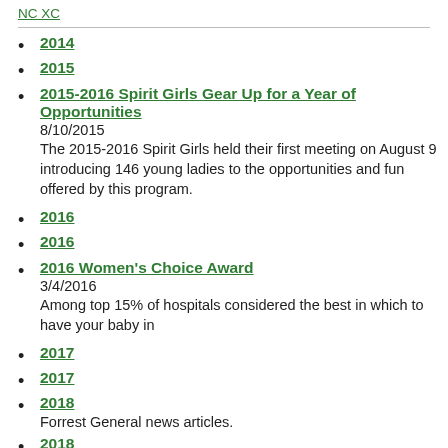NC XC
2014
2015
2015-2016 Spirit Girls Gear Up for a Year of Opportunities
8/10/2015
The 2015-2016 Spirit Girls held their first meeting on August 9 introducing 146 young ladies to the opportunities and fun offered by this program.
2016
2016
2016 Women's Choice Award
3/4/2016
Among top 15% of hospitals considered the best in which to have your baby in
2017
2017
2018
Forrest General news articles.
2018